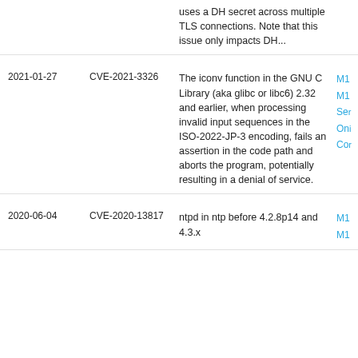| Date | CVE | Description | Tags |
| --- | --- | --- | --- |
|  |  | uses a DH secret across multiple TLS connections. Note that this issue only impacts DH... | M1
M1
Ser
On
Co |
| 2021-01-27 | CVE-2021-3326 | The iconv function in the GNU C Library (aka glibc or libc6) 2.32 and earlier, when processing invalid input sequences in the ISO-2022-JP-3 encoding, fails an assertion in the code path and aborts the program, potentially resulting in a denial of service. | M1
M1
Ser
Oni
Cor |
| 2020-06-04 | CVE-2020-13817 | ntpd in ntp before 4.2.8p14 and 4.3.x... | M1
M1 |